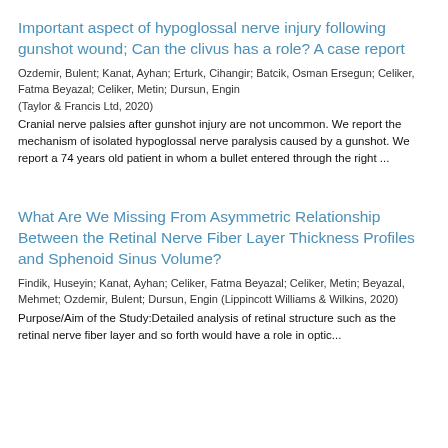Important aspect of hypoglossal nerve injury following gunshot wound; Can the clivus has a role? A case report
Ozdemir, Bulent; Kanat, Ayhan; Erturk, Cihangir; Batcik, Osman Ersegun; Celiker, Fatma Beyazal; Celiker, Metin; Dursun, Engin
(Taylor & Francis Ltd, 2020)
Cranial nerve palsies after gunshot injury are not uncommon. We report the mechanism of isolated hypoglossal nerve paralysis caused by a gunshot. We report a 74 years old patient in whom a bullet entered through the right ...
What Are We Missing From Asymmetric Relationship Between the Retinal Nerve Fiber Layer Thickness Profiles and Sphenoid Sinus Volume?
Findik, Huseyin; Kanat, Ayhan; Celiker, Fatma Beyazal; Celiker, Metin; Beyazal, Mehmet; Ozdemir, Bulent; Dursun, Engin (Lippincott Williams & Wilkins, 2020)
Purpose/Aim of the Study:Detailed analysis of retinal structure such as the retinal nerve fiber layer and so forth would have a role in optic...